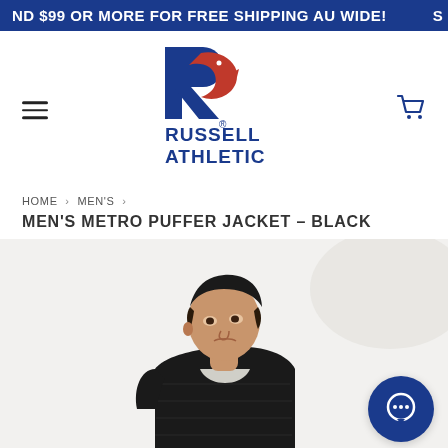ND $99 OR MORE FOR FREE SHIPPING AU WIDE!
[Figure (logo): Russell Athletic logo - blue R with red eagle, text RUSSELL ATHLETIC below]
HOME › MEN'S ›
MEN'S METRO PUFFER JACKET – BLACK
[Figure (photo): Male model wearing a black Men's Metro Puffer Jacket, shown from mid-chest up, looking to the side]